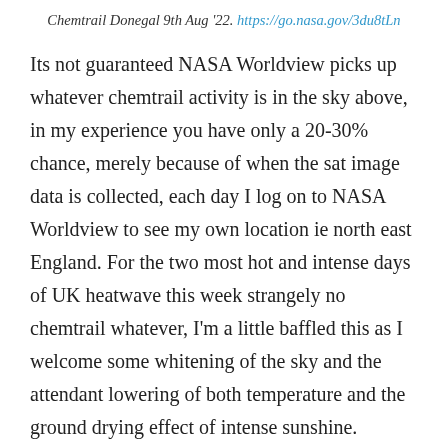Chemtrail Donegal 9th Aug '22. https://go.nasa.gov/3du8tLn
Its not guaranteed NASA Worldview picks up whatever chemtrail activity is in the sky above, in my experience you have only a 20-30% chance, merely because of when the sat image data is collected, each day I log on to NASA Worldview to see my own location ie north east England. For the two most hot and intense days of UK heatwave this week strangely no chemtrail whatever, I'm a little baffled this as I welcome some whitening of the sky and the attendant lowering of both temperature and the ground drying effect of intense sunshine.
It was the total absence of chemtrail, the possibility of two days in succession of no chemtrail that made the